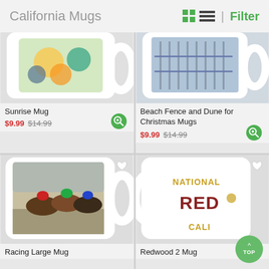California Mugs
[Figure (photo): White mug with floral/colorful California design, top portion visible]
Sunrise Mug
$9.99  $14.99
[Figure (photo): White mug with beach fence and dune image, top portion visible]
Beach Fence and Dune for Christmas Mugs
$9.99  $14.99
[Figure (photo): White mug with horse racing scene printed on it]
Racing Large Mug
[Figure (photo): White mug with National Redwood California text/logo in gold and brown]
Redwood 2 Mug